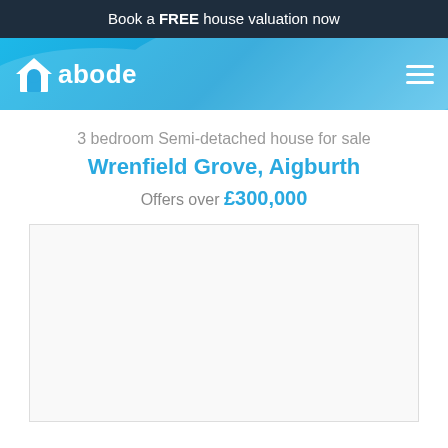Book a FREE house valuation now
[Figure (logo): Abode real estate logo with house icon and text 'abode' in white on blue gradient navigation bar]
3 bedroom Semi-detached house for sale
Wrenfield Grove, Aigburth
Offers over £300,000
[Figure (photo): Property photo placeholder — white/light grey empty image box with border]